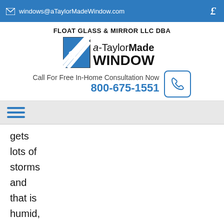windows@aTaylorMadeWindow.com
FLOAT GLASS & MIRROR LLC DBA a-TaylorMade WINDOW
Call For Free In-Home Consultation Now 800-675-1551
gets lots of storms and that is humid, you may not want to have